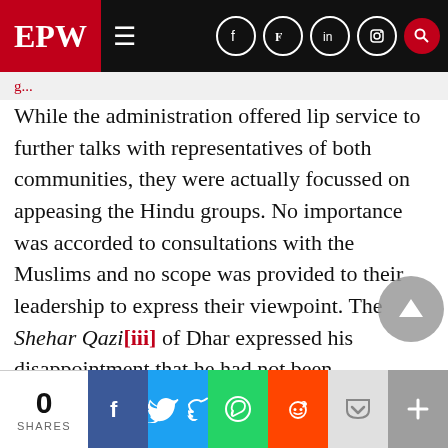EPW
While the administration offered lip service to further talks with representatives of both communities, they were actually focussed on appeasing the Hindu groups. No importance was accorded to consultations with the Muslims and no scope was provided to their leadership to express their viewpoint. The Shehar Qazi[iii] of Dhar expressed his disappointment that he had not been approached by the state Bharatiya Janata Party (BJP) leadership to take part in the ongoing negotiations over the Bhojshala question (Mitra and Mishra 2016a). Simultaneously, the local
0 SHARES